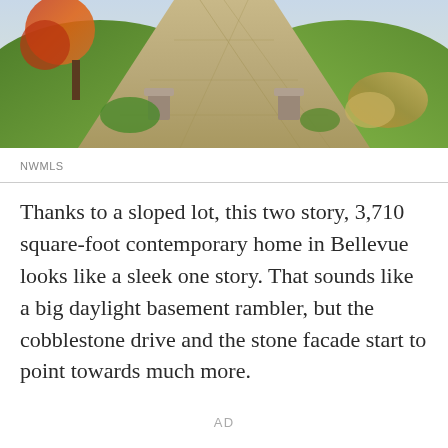[Figure (photo): Aerial or elevated view of a cobblestone driveway leading to a home, flanked by green lawns, shrubs, and landscaping with autumn/fall foliage colors.]
NWMLS
Thanks to a sloped lot, this two story, 3,710 square-foot contemporary home in Bellevue looks like a sleek one story. That sounds like a big daylight basement rambler, but the cobblestone drive and the stone facade start to point towards much more.
AD